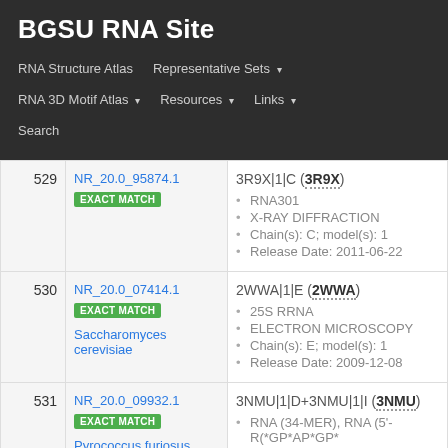BGSU RNA Site
RNA Structure Atlas | Representative Sets ▾ | RNA 3D Motif Atlas ▾ | Resources ▾ | Links ▾ | Search
| # | Representative | Entry |
| --- | --- | --- |
| 529 | NR_20.0_95874.1
EXACT MATCH | 3R9X|1|C (3R9X)
• RNA301
• X-RAY DIFFRACTION
• Chain(s): C; model(s): 1
• Release Date: 2011-06-22 |
| 530 | NR_20.0_07414.1
EXACT MATCH
Saccharomyces cerevisiae | 2WWA|1|E (2WWA)
• 25S RRNA
• ELECTRON MICROSCOPY
• Chain(s): E; model(s): 1
• Release Date: 2009-12-08 |
| 531 | NR_20.0_09932.1
EXACT MATCH
Pyrococcus furiosus | 3NMU|1|D+3NMU|1|I (3NMU)
• RNA (34-MER), RNA (5'-R(*GP*AP*GP*
• X-RAY DIFFRACTION |